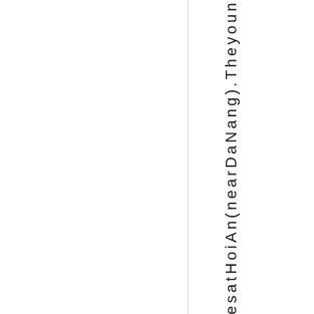hesatHoiAn(nearDaNang).Theyoun